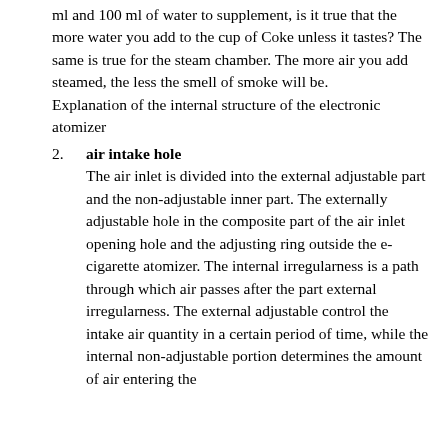ml and 100 ml of water to supplement, is it true that the more water you add to the cup of Coke unless it tastes? The same is true for the steam chamber. The more air you add steamed, the less the smell of smoke will be.
Explanation of the internal structure of the electronic atomizer
air intake hole
The air inlet is divided into the external adjustable part and the non-adjustable inner part. The externally adjustable hole in the composite part of the air inlet opening hole and the adjusting ring outside the e-cigarette atomizer. The internal irregularness is a path through which air passes after the part external irregularness. The external adjustable control the intake air quantity in a certain period of time, while the internal non-adjustable portion determines the amount of air entering the